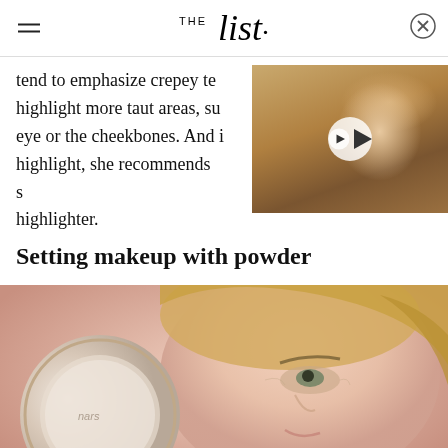THE List
tend to emphasize crepey texture, highlight more taut areas, such as the eye or the cheekbones. And if you highlight, she recommends strobing highlighter.
[Figure (screenshot): Video thumbnail showing a blonde woman, with a play button overlay]
Setting makeup with powder
[Figure (photo): Close-up photo of an older blonde woman applying powder makeup from a compact, holding it up to her face]